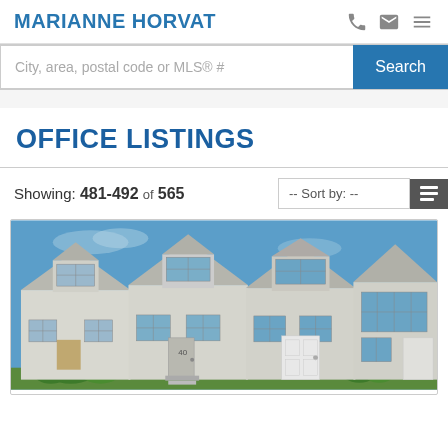MARIANNE HORVAT
City, area, postal code or MLS® #
OFFICE LISTINGS
Showing: 481-492 of 565
[Figure (photo): Exterior photo of a row of white/light-colored townhouse units with multiple windows, a front door visible, and green shrubs in the foreground under a blue sky.]